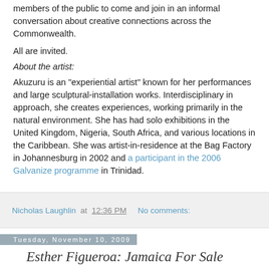members of the public to come and join in an informal conversation about creative connections across the Commonwealth.
All are invited.
About the artist:
Akuzuru is an "experiential artist" known for her performances and large sculptural-installation works. Interdisciplinary in approach, she creates experiences, working primarily in the natural environment. She has had solo exhibitions in the United Kingdom, Nigeria, South Africa, and various locations in the Caribbean. She was artist-in-residence at the Bag Factory in Johannesburg in 2002 and a participant in the 2006 Galvanize programme in Trinidad.
Nicholas Laughlin at 12:36 PM   No comments:
Tuesday, November 10, 2009
Esther Figueroa: Jamaica For Sale